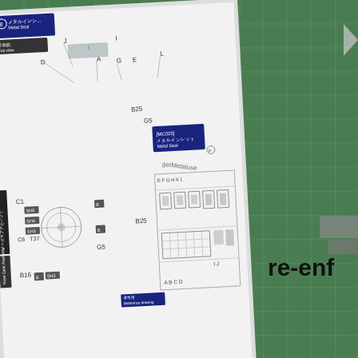[Figure (photo): Photo of a model kit instruction sheet showing Nose Gear Assembly diagram with Metal Seal labels, part numbers (B25, G5, C1, C6, B16, etc.), MC023 Metal Seal box, and reference drawing on a green cutting mat background with 're-enf' text visible on the right edge]
.... with these added....  still to be over painted.
[Figure (photo): Photo showing teal/green background with white bold text reading 'F-16 BM (MLU) re-enforcement plates / stiffeners' on the left side, and a gray model kit part on the right side with a dark gray rectangular piece affixed to it]